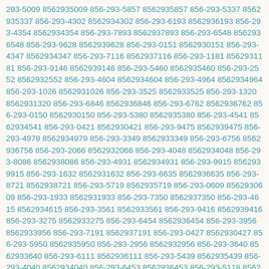293-5009 8562935009 856-293-5857 8562935857 856-293-5337 8562935337 856-293-4302 8562934302 856-293-6193 8562936193 856-293-4354 8562934354 856-293-7893 8562937893 856-293-6548 8562936548 856-293-9628 8562939628 856-293-0151 8562930151 856-293-4347 8562934347 856-293-7116 8562937116 856-293-1181 8562931181 856-293-9146 8562939146 856-293-5460 8562935460 856-293-2552 8562932552 856-293-4604 8562934604 856-293-4964 8562934964 856-293-1026 8562931026 856-293-3525 8562933525 856-293-1320 8562931320 856-293-6846 8562936846 856-293-6762 8562936762 856-293-0150 8562930150 856-293-5380 8562935380 856-293-4541 8562934541 856-293-0421 8562930421 856-293-9475 8562939475 856-293-4979 8562934979 856-293-3349 8562933349 856-293-6756 8562936756 856-293-2066 8562932066 856-293-4048 8562934048 856-293-8086 8562938086 856-293-4931 8562934931 856-293-9915 8562939915 856-293-1632 8562931632 856-293-6635 8562936635 856-293-8721 8562938721 856-293-5719 8562935719 856-293-0609 8562930609 856-293-1933 8562931933 856-293-7350 8562937350 856-293-4615 8562934615 856-293-3561 8562933561 856-293-9416 8562939416 856-293-3275 8562933275 856-293-6454 8562936454 856-293-3956 8562933956 856-293-7191 8562937191 856-293-0427 8562930427 856-293-5950 8562935950 856-293-2956 8562932956 856-293-3640 8562933640 856-293-6111 8562936111 856-293-5439 8562935439 856-293-4040 8562934040 856-293-6453 8562936453 856-293-5118 8562935118 856-293-5816 8562935816 856-293-6885 8562936885 856-293-9758 8562939758 856-293-6984 8562936984 856-293-6896 8562936896 856-293-6106 8562936106 856-293-8151 8562938151 856-293-9166 8562939166 856-293-3930